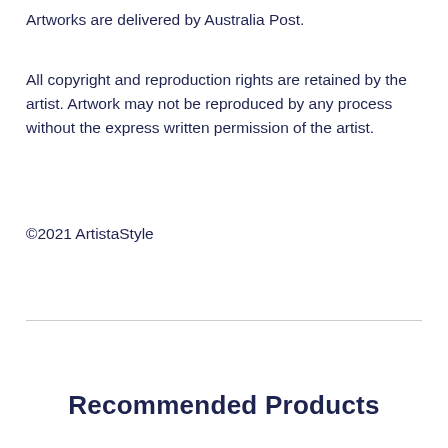Artworks are delivered by Australia Post.
All copyright and reproduction rights are retained by the artist. Artwork may not be reproduced by any process without the express written permission of the artist.
©2021 ArtistaStyle
Recommended Products